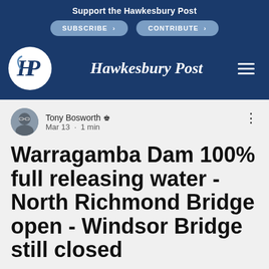Support the Hawkesbury Post
SUBSCRIBE > CONTRIBUTE >
[Figure (logo): Hawkesbury Post logo: white circle with stylized HP initials in dark blue, with site name 'Hawkesbury Post' in white serif italic text beside it on a dark blue background]
Tony Bosworth [admin icon] Mar 13 · 1 min
Warragamba Dam 100% full releasing water - North Richmond Bridge open - Windsor Bridge still closed